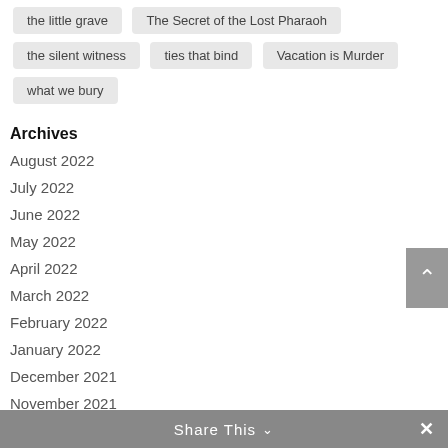the little grave
The Secret of the Lost Pharaoh
the silent witness
ties that bind
Vacation is Murder
what we bury
Archives
August 2022
July 2022
June 2022
May 2022
April 2022
March 2022
February 2022
January 2022
December 2021
November 2021
Share This ∨  ✕